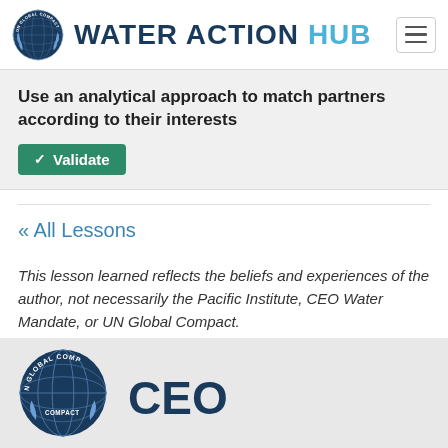WATER ACTION HUB
Use an analytical approach to match partners according to their interests
✓ Validate
« All Lessons
This lesson learned reflects the beliefs and experiences of the author, not necessarily the Pacific Institute, CEO Water Mandate, or UN Global Compact.
[Figure (logo): UN Global Compact logo and CEO text in footer]